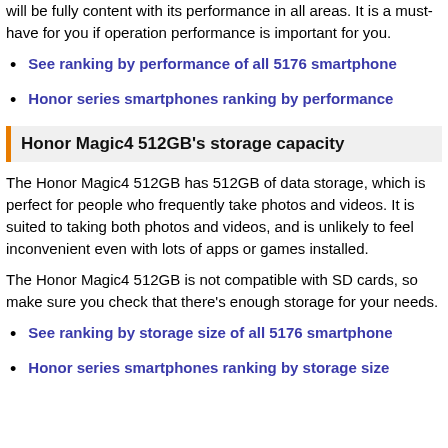will be fully content with its performance in all areas. It is a must-have for you if operation performance is important for you.
See ranking by performance of all 5176 smartphone
Honor series smartphones ranking by performance
Honor Magic4 512GB's storage capacity
The Honor Magic4 512GB has 512GB of data storage, which is perfect for people who frequently take photos and videos. It is suited to taking both photos and videos, and is unlikely to feel inconvenient even with lots of apps or games installed.
The Honor Magic4 512GB is not compatible with SD cards, so make sure you check that there's enough storage for your needs.
See ranking by storage size of all 5176 smartphone
Honor series smartphones ranking by storage size